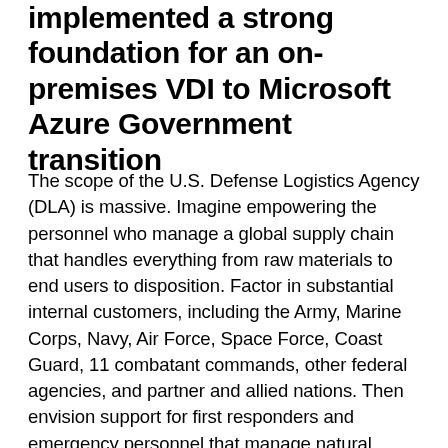implemented a strong foundation for an on-premises VDI to Microsoft Azure Government transition
The scope of the U.S. Defense Logistics Agency (DLA) is massive. Imagine empowering the personnel who manage a global supply chain that handles everything from raw materials to end users to disposition. Factor in substantial internal customers, including the Army, Marine Corps, Navy, Air Force, Space Force, Coast Guard, 11 combatant commands, other federal agencies, and partner and allied nations. Then envision support for first responders and emergency personnel that manage natural disasters such as wildfires, hurricanes, and earthquakes. It takes a strong technology backbone to empower this widespread logistics team with access to applications and